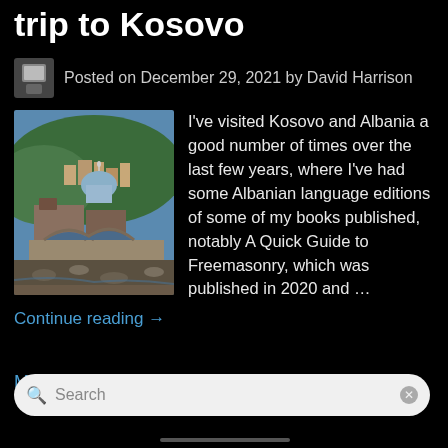trip to Kosovo
Posted on December 29, 2021 by David Harrison
[Figure (photo): Photograph of a Kosovo city scene showing an old stone arched bridge over a rocky riverbed, with a mosque dome and hillside buildings in the background under a blue sky.]
I've visited Kosovo and Albania a good number of times over the last few years, where I've had some Albanian language editions of some of my books published, notably A Quick Guide to Freemasonry, which was published in 2020 and …
Continue reading →
More posts…